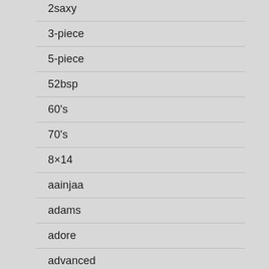2saxy
3-piece
5-piece
52bsp
60's
70's
8×14
aainjaa
adams
adore
advanced
aiorni